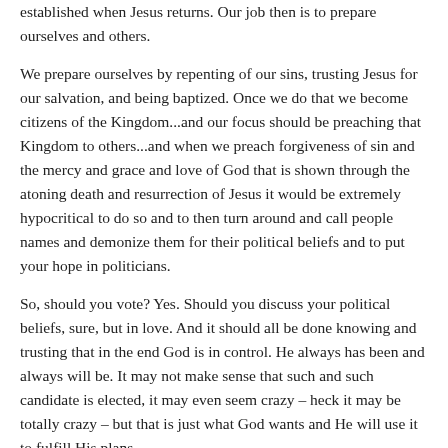established when Jesus returns. Our job then is to prepare ourselves and others.
We prepare ourselves by repenting of our sins, trusting Jesus for our salvation, and being baptized. Once we do that we become citizens of the Kingdom...and our focus should be preaching that Kingdom to others...and when we preach forgiveness of sin and the mercy and grace and love of God that is shown through the atoning death and resurrection of Jesus it would be extremely hypocritical to do so and to then turn around and call people names and demonize them for their political beliefs and to put your hope in politicians.
So, should you vote? Yes. Should you discuss your political beliefs, sure, but in love. And it should all be done knowing and trusting that in the end God is in control. He always has been and always will be. It may not make sense that such and such candidate is elected, it may even seem crazy – heck it may be totally crazy – but that is just what God wants and He will use it to fulfill His plans.